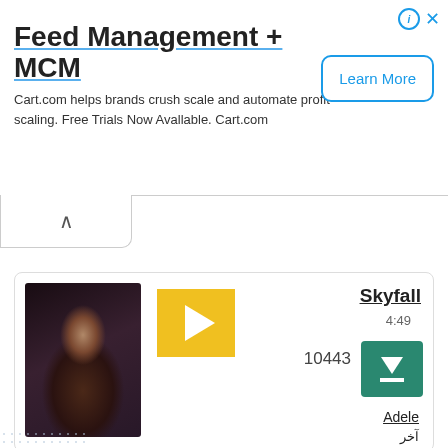[Figure (screenshot): Advertisement banner for Cart.com Feed Management + MCM with Learn More button]
Feed Management + MCM
Cart.com helps brands crush scale and automate profit scaling. Free Trials Now Available. Cart.com
[Figure (screenshot): Music card for Skyfall by Adele with album art, play button, download count 10443, and download button]
Skyfall
4:49
10443
Adele
آخر
[Figure (screenshot): Partial music card for Havana (Feat. Young Thug)]